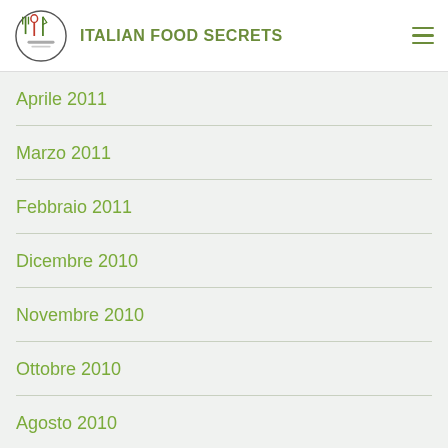ITALIAN FOOD SECRETS
Aprile 2011
Marzo 2011
Febbraio 2011
Dicembre 2010
Novembre 2010
Ottobre 2010
Agosto 2010
Luglio 2010
Maggio 2010